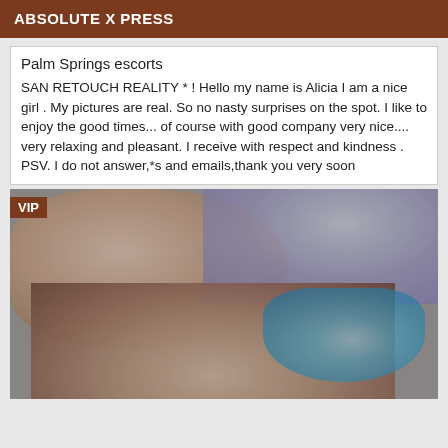ABSOLUTE X PRESS
Palm Springs escorts
SAN RETOUCH REALITY * ! Hello my name is Alicia I am a nice girl . My pictures are real. So no nasty surprises on the spot. I like to enjoy the good times... of course with good company very nice.... very relaxing and pleasant. I receive with respect and kindness . PSV. I do not answer,*s and emails,thank you very soon
[Figure (photo): Close-up photograph with brown skin tones and a blue glowing object, marked with VIP badge]